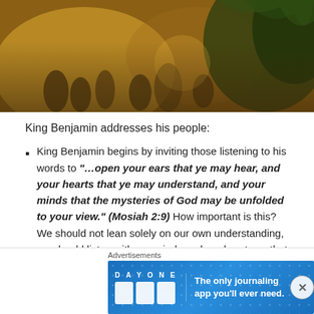[Figure (illustration): Painting of King Benjamin addressing his people — multiple figures in robes gathered outdoors among trees with golden/warm lighting]
King Benjamin addresses his people:
King Benjamin begins by inviting those listening to his words to "…open your ears that ye may hear, and your hearts that ye may understand, and your minds that the mysteries of God may be unfolded to your view." (Mosiah 2:9) How important is this? We should not lean solely on our own understanding, we should listen with our minds and our hearts so that
Advertisements
[Figure (screenshot): DAY ONE journaling app advertisement banner — blue background with dot pattern, icons of a book, person, and notepad, text: The only journaling app you'll ever need.]